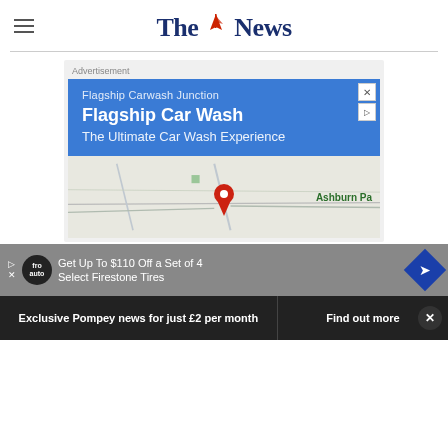The News
[Figure (screenshot): Advertisement for Flagship Car Wash with blue card showing 'Flagship Carwash Junction', 'Flagship Car Wash', 'The Ultimate Car Wash Experience', and a Google Maps view with a red pin marker near Ashburn Pa location]
[Figure (screenshot): Bottom advertisement bar: Get Up To $110 Off a Set of 4 Select Firestone Tires, with fro auto logo and blue diamond arrow icon]
Exclusive Pompey news for just £2 per month
Find out more